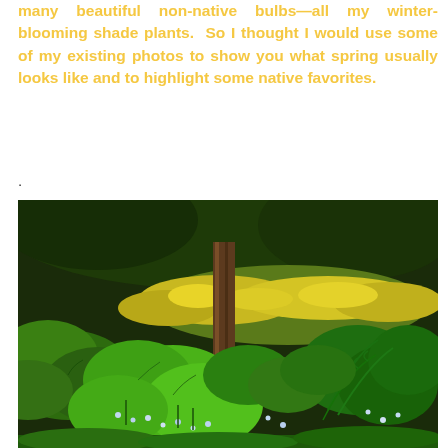many beautiful non-native bulbs—all my winter-blooming shade plants.  So I thought I would use some of my existing photos to show you what spring usually looks like and to highlight some native favorites.
.
[Figure (photo): A lush woodland garden scene showing a forest floor covered with green leafy plants, yellow wildflowers, ferns, small white/blue flowers, and a tree trunk in the background with dense green foliage throughout.]